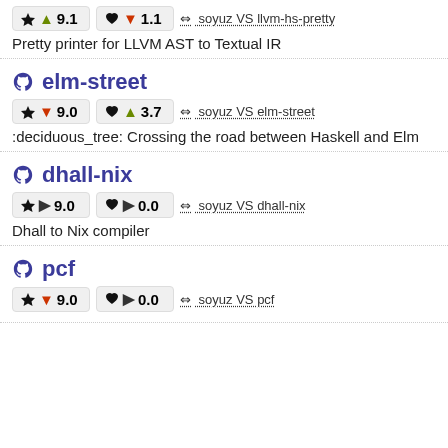★ ▲ 9.1   ♥ ▼ 1.1   ⇔ soyuz VS llvm-hs-pretty
Pretty printer for LLVM AST to Textual IR
elm-street
★ ▼ 9.0   ♥ ▲ 3.7   ⇔ soyuz VS elm-street
:deciduous_tree: Crossing the road between Haskell and Elm
dhall-nix
★ ▶ 9.0   ♥ ▶ 0.0   ⇔ soyuz VS dhall-nix
Dhall to Nix compiler
pcf
★ ▼ 9.0   ♥ ▶ 0.0   ⇔ soyuz VS pcf